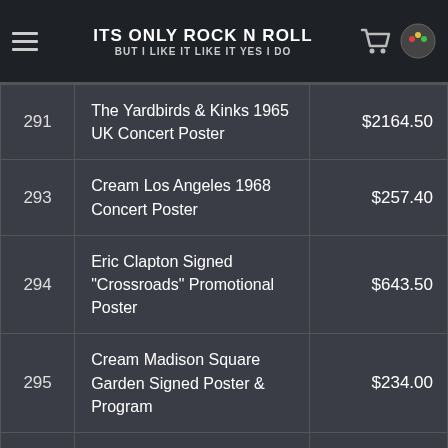ITS ONLY ROCK N ROLL BUT I LIKE IT LIKE IT YES I DO
| Lot | Description | Price |
| --- | --- | --- |
| 291 | The Yardbirds & Kinks 1965 UK Concert Poster | $2164.50 |
| 293 | Cream Los Angeles 1968 Concert Poster | $257.40 |
| 294 | Eric Clapton Signed "Crossroads" Promotional Poster | $643.50 |
| 295 | Cream Madison Square Garden Signed Poster & Program | $234.00 |
| 296 | Eric Clapton "461 Ocean Blvd." Easel Backed Store Display | $175.50 |